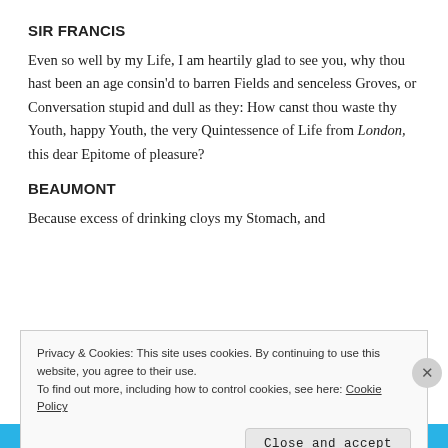SIR FRANCIS
Even so well by my Life, I am heartily glad to see you, why thou hast been an age consin'd to barren Fields and senceless Groves, or Conversation stupid and dull as they: How canst thou waste thy Youth, happy Youth, the very Quintessence of Life from London, this dear Epitome of pleasure?
BEAUMONT
Because excess of drinking cloys my Stomach, and
Privacy & Cookies: This site uses cookies. By continuing to use this website, you agree to their use.
To find out more, including how to control cookies, see here: Cookie Policy
Close and accept